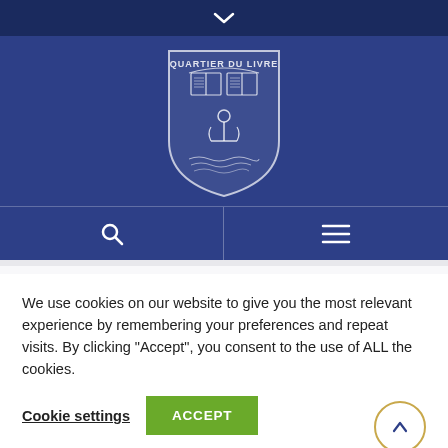[Figure (logo): Quartier du Livre shield logo with open book and anchor motif, white on blue background]
[Figure (screenshot): Navigation bar with search icon on left and hamburger menu icon on right, on dark blue background]
We use cookies on our website to give you the most relevant experience by remembering your preferences and repeat visits. By clicking "Accept", you consent to the use of ALL the cookies.
Cookie settings
ACCEPT